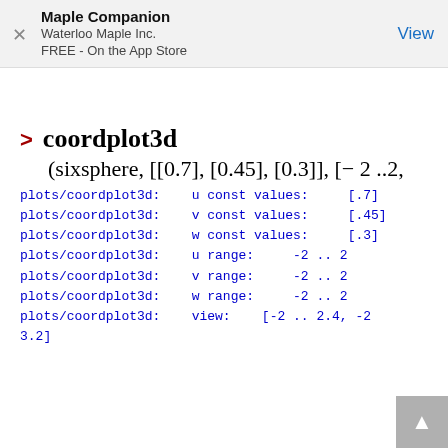Maple Companion
Waterloo Maple Inc.
FREE - On the App Store
View
> coordplot3d
(sixsphere, [[0.7], [0.45], [0.3]], [-2 ..2,
plots/coordplot3d:   u const values:    [.7]
plots/coordplot3d:   v const values:    [.45]
plots/coordplot3d:   w const values:    [.3]
plots/coordplot3d:   u range:    -2 .. 2
plots/coordplot3d:   v range:    -2 .. 2
plots/coordplot3d:   w range:    -2 .. 2
plots/coordplot3d:   view:   [-2 .. 2.4, -2
3.2]